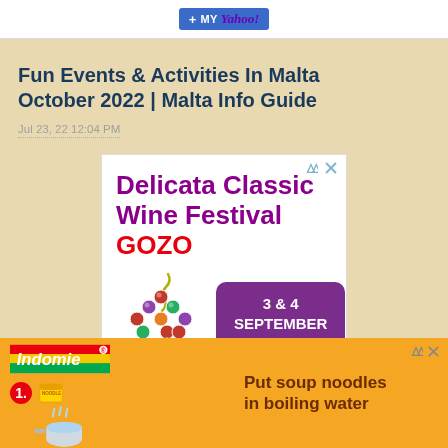[Figure (screenshot): My Yahoo! add button widget in white top bar]
Fun Events & Activities In Malta October 2022 | Malta Info Guide
Jul 23, 22 12:04 PM
[Figure (infographic): Delicata Classic Wine Festival GOZO advertisement — 3 & 4 September 2022, with grape bottle cluster illustration]
[Figure (infographic): Indomie noodles advertisement — step 1: Put soup noodles in boiling water, with noodle package and pot illustration]